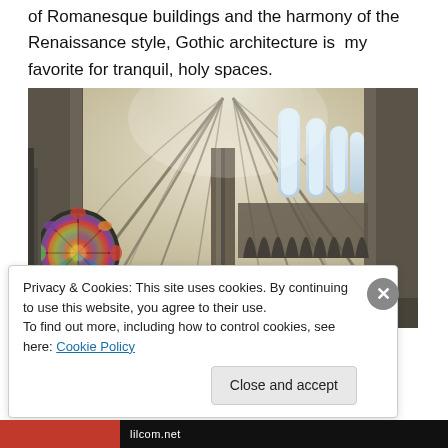of Romanesque buildings and the harmony of the Renaissance style, Gothic architecture is my favorite for tranquil, holy spaces.
[Figure (photo): Interior of a Gothic cathedral showing ribbed vaulted ceiling, tall narrow windows with natural light streaming through, a colorful rose stained glass window on the left, and ornate stone columns and arches.]
Privacy & Cookies: This site uses cookies. By continuing to use this website, you agree to their use.
To find out more, including how to control cookies, see here: Cookie Policy
lilcom.net